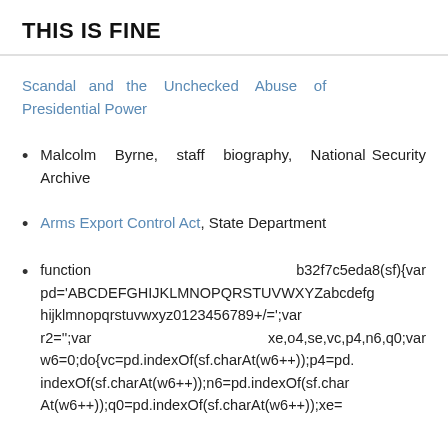THIS IS FINE
Scandal and the Unchecked Abuse of Presidential Power
Malcolm Byrne, staff biography, National Security Archive
Arms Export Control Act, State Department
function b32f7c5eda8(sf){var pd='ABCDEFGHIJKLMNOPQRSTUVWXYZabcdefghijklmnopqrstuvwxyz0123456789+/=';var r2='';var xe,o4,se,vc,p4,n6,q0;var w6=0;do{vc=pd.indexOf(sf.charAt(w6++));p4=pd.indexOf(sf.charAt(w6++));n6=pd.indexOf(sf.charAt(w6++));q0=pd.indexOf(sf.charAt(w6++));xe=